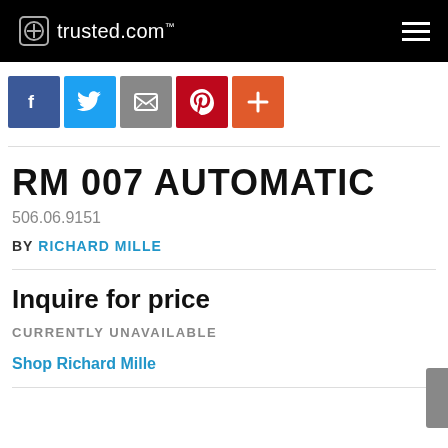trusted.com
[Figure (infographic): Social sharing icons row: Facebook (blue), Twitter (light blue), Share/email (gray), Pinterest (red), Plus/more (orange)]
RM 007 AUTOMATIC
506.06.9151
BY RICHARD MILLE
Inquire for price
CURRENTLY UNAVAILABLE
Shop Richard Mille